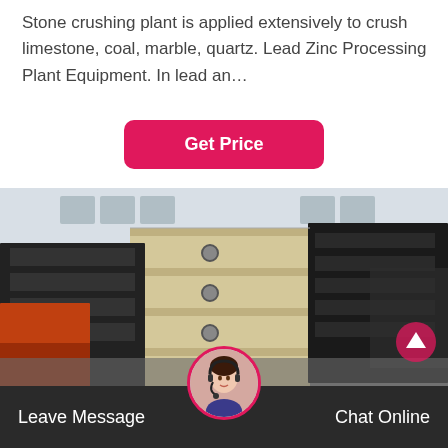Stone crushing plant is applied extensively to crush limestone, coal, marble, quartz. Lead Zinc Processing Plant Equipment. In lead an…
[Figure (other): Button labeled 'Get Price' with pink/magenta background and rounded corners]
[Figure (photo): Industrial factory interior showing large vibrating screen / crushing equipment stacked in rows — beige and black metal panels — inside a large warehouse with cranes and steel roof structure]
Leave Message
Chat Online